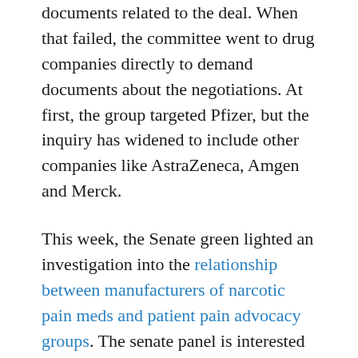documents related to the deal. When that failed, the committee went to drug companies directly to demand documents about the negotiations. At first, the group targeted Pfizer, but the inquiry has widened to include other companies like AstraZeneca, Amgen and Merck.
This week, the Senate green lighted an investigation into the relationship between manufacturers of narcotic pain meds and patient pain advocacy groups. The senate panel is interested in records about the links, financial and otherwise, between the industry and the groups that advocate the use of their products. The panel requested payment information for the past ten years from three